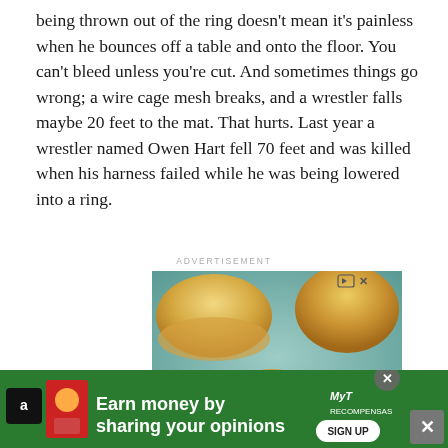being thrown out of the ring doesn't mean it's painless when he bounces off a table and onto the floor. You can't bleed unless you're cut. And sometimes things go wrong; a wire cage mesh breaks, and a wrestler falls maybe 20 feet to the mat. That hurts. Last year a wrestler named Owen Hart fell 70 feet and was killed when his harness failed while he was being lowered into a ring.
[Figure (photo): Advertisement showing a plate of fried chicken pieces with dipping sauce and bread rolls on a teal/turquoise background]
[Figure (photo): Bottom banner advertisement with green background: 'Earn money by sharing your opinions' with MyRecomp brand logo and Sign Up button]